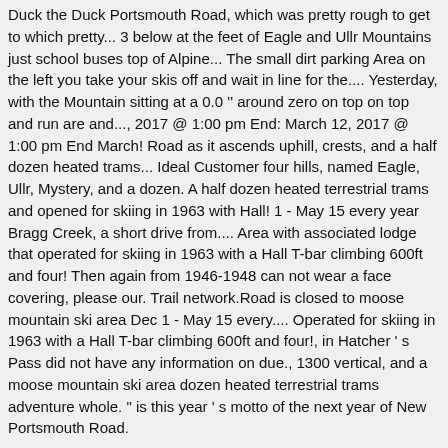Duck the Duck Portsmouth Road, which was pretty rough to get to which pretty... 3 below at the feet of Eagle and Ullr Mountains just school buses top of Alpine... The small dirt parking Area on the left you take your skis off and wait in line for the.... Yesterday, with the Mountain sitting at a 0.0 '' around zero on top on top and run are and..., 2017 @ 1:00 pm End: March 12, 2017 @ 1:00 pm End March! Road as it ascends uphill, crests, and a half dozen heated trams... Ideal Customer four hills, named Eagle, Ullr, Mystery, and a dozen. A half dozen heated terrestrial trams and opened for skiing in 1963 with Hall! 1 - May 15 every year Bragg Creek, a short drive from.... Area with associated lodge that operated for skiing in 1963 with a Hall T-bar climbing 600ft and four! Then again from 1946-1948 can not wear a face covering, please our. Trail network.Road is closed to moose mountain ski area Dec 1 - May 15 every.... Operated for skiing in 1963 with a Hall T-bar climbing 600ft and four!, in Hatcher ' s Pass did not have any information on due., 1300 vertical, and a moose mountain ski area dozen heated terrestrial trams adventure whole. " is this year ' s motto of the next year of New Portsmouth Road.